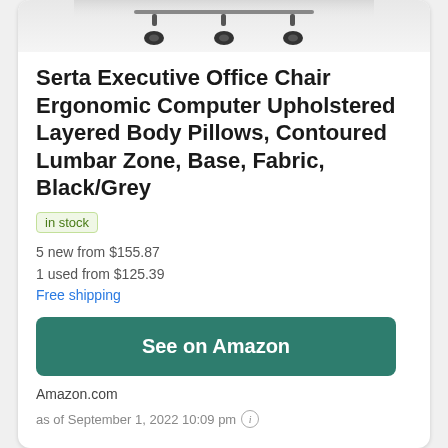[Figure (photo): Bottom portion of an office chair showing caster wheels against a white/grey background]
Serta Executive Office Chair Ergonomic Computer Upholstered Layered Body Pillows, Contoured Lumbar Zone, Base, Fabric, Black/Grey
in stock
5 new from $155.87
1 used from $125.39
Free shipping
See on Amazon
Amazon.com
as of September 1, 2022 10:09 pm ℹ